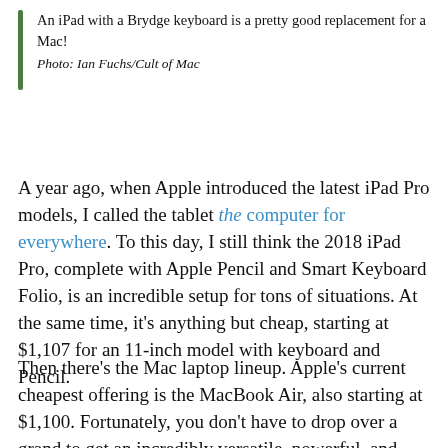An iPad with a Brydge keyboard is a pretty good replacement for a Mac!
Photo: Ian Fuchs/Cult of Mac
A year ago, when Apple introduced the latest iPad Pro models, I called the tablet the computer for everywhere. To this day, I still think the 2018 iPad Pro, complete with Apple Pencil and Smart Keyboard Folio, is an incredible setup for tons of situations. At the same time, it's anything but cheap, starting at $1,107 for an 11-inch model with keyboard and Pencil.
Then there's the Mac laptop lineup. Apple's current cheapest offering is the MacBook Air, also starting at $1,100. Fortunately, you don't have to drop over a grand to get an incredibly versatile, powerful, and